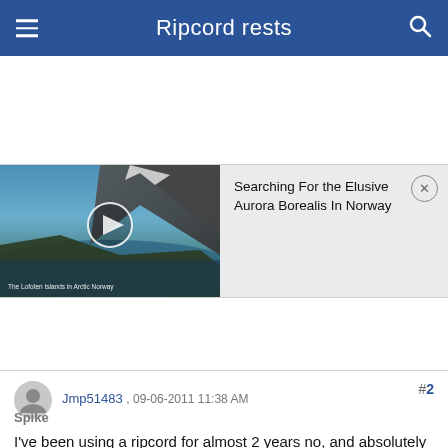Ripcord rests
[Figure (screenshot): Video thumbnail showing The Lofoten Islands in Arctic Norway with a play button overlay]
Searching For the Elusive Aurora Borealis In Norway
#2
Jmp51483 , 09-06-2011 11:38 AM
Spike
I've been using a ripcord for almost 2 years no, and absolutely no issues with it. It locks every time and releases